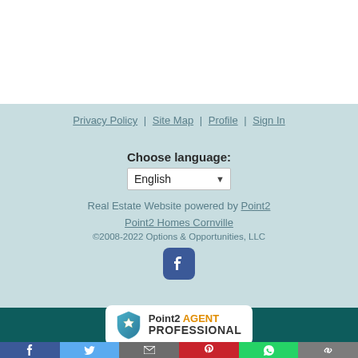Privacy Policy | Site Map | Profile | Sign In
Choose language:
English (dropdown)
Real Estate Website powered by Point2
Point2 Homes Cornville
©2008-2022 Options & Opportunities, LLC
[Figure (logo): Facebook icon/logo]
[Figure (logo): Point2 Agent Professional badge]
[Figure (infographic): Social sharing bar with Facebook, Twitter, Email, Pinterest, WhatsApp, and Link buttons]